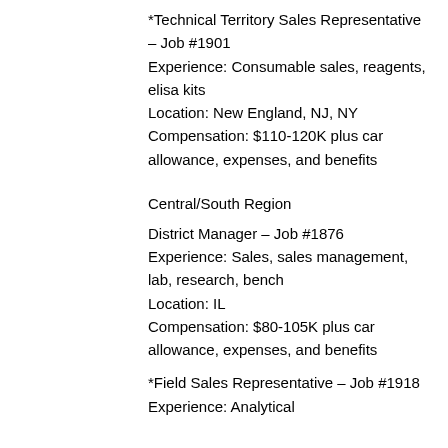*Technical Territory Sales Representative – Job #1901
Experience: Consumable sales, reagents, elisa kits
Location: New England, NJ, NY
Compensation: $110-120K plus car allowance, expenses, and benefits
Central/South Region
District Manager – Job #1876
Experience: Sales, sales management, lab, research, bench
Location: IL
Compensation: $80-105K plus car allowance, expenses, and benefits
*Field Sales Representative – Job #1918
Experience: Analytical